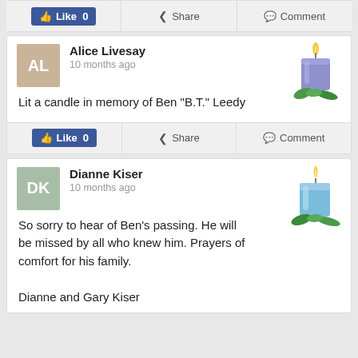[Figure (screenshot): Like, Share, Comment action bar (partial top)]
Alice Livesay
10 months ago
Lit a candle in memory of Ben "B.T." Leedy
[Figure (illustration): Purple candle with green leaves]
[Figure (screenshot): Like 0, Share, Comment action bar]
Dianne Kiser
10 months ago
So sorry to hear of Ben's passing. He will be missed by all who knew him. Prayers of comfort for his family.

Dianne and Gary Kiser
[Figure (illustration): Blue candle with green leaves]